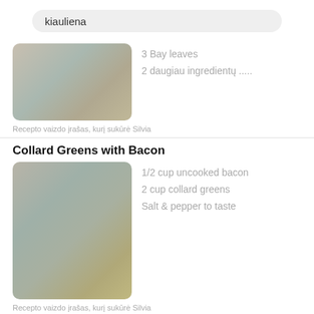kiauliena
[Figure (photo): Blurred food photo, first recipe]
3 Bay leaves
2 daugiau ingredientų .....
Recepto vaizdo įrašas, kurį sukūrė Silvia
Collard Greens with Bacon
[Figure (photo): Blurred food photo for Collard Greens with Bacon recipe]
1/2 cup uncooked bacon
2 cup collard greens
Salt & pepper to taste
Recepto vaizdo įrašas, kurį sukūrė Silvia
Peas & Bacon side dish
[Figure (photo): Blurred food photo for Peas & Bacon side dish recipe (partially visible)]